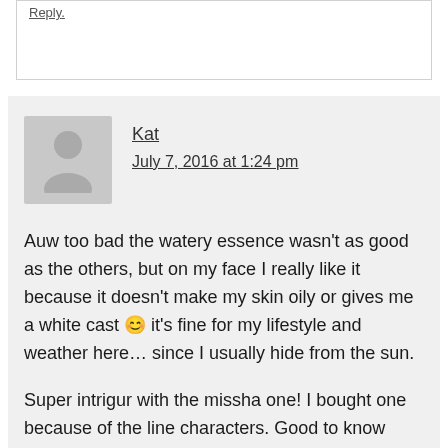Reply.
Kat
July 7, 2016 at 1:24 pm
Auw too bad the watery essence wasn't as good as the others, but on my face I really like it because it doesn't make my skin oily or gives me a white cast 😊 it's fine for my lifestyle and weather here… since I usually hide from the sun.
Super intrigur with the missha one! I bought one because of the line characters. Good to know they are really good !